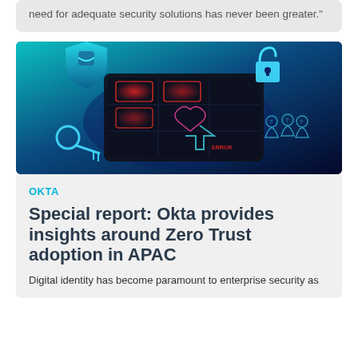need for adequate security solutions has never been greater."
[Figure (illustration): Cybersecurity themed digital illustration showing a dark tablet/device with glowing red warning icons, an unlocked padlock in cyan/blue, a key, a shield with cloud icon, and silhouette figures with question marks — all on a teal-to-dark-blue gradient background.]
OKTA
Special report: Okta provides insights around Zero Trust adoption in APAC
Digital identity has become paramount to enterprise security as